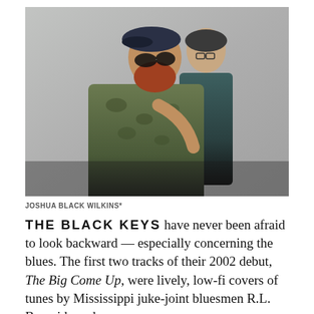[Figure (photo): Two men standing in front of a grey concrete wall. The man in front wears a camouflage jacket, sunglasses, and has a red beard. The man behind wears a dark teal shirt and glasses.]
JOSHUA BLACK WILKINS*
THE BLACK KEYS have never been afraid to look backward — especially concerning the blues. The first two tracks of their 2002 debut, The Big Come Up, were lively, low-fi covers of tunes by Mississippi juke-joint bluesmen R.L. Burnside and Junior Kimbrough, and their 2006 EP, Chulahoma,